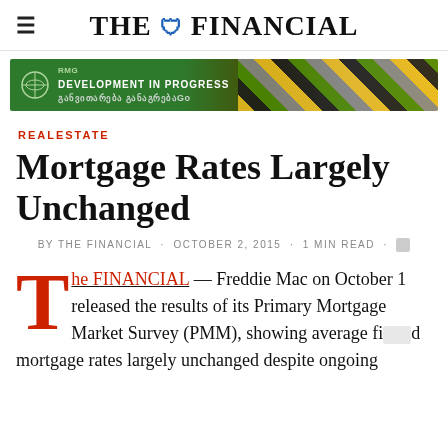THE FINANCIAL
[Figure (other): RMG advertisement banner: green background with text 'DEVELOPMENT IN PROGRESS' and Georgian text, with colorful diagonal stripe decoration on the right]
REALESTATE
Mortgage Rates Largely Unchanged
BY THE FINANCIAL · OCTOBER 2, 2015 · 1 MIN READ
The FINANCIAL — Freddie Mac on October 1 released the results of its Primary Mortgage Market Survey (PMM), showing average fixed mortgage rates largely unchanged despite ongoing